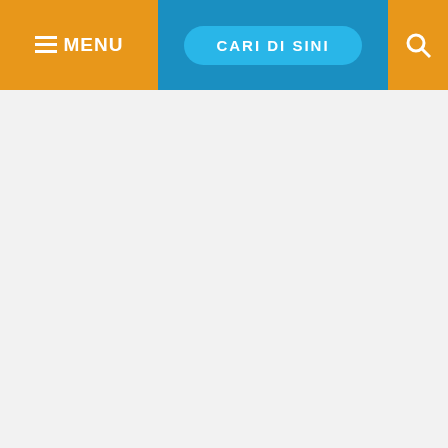MENU | CARI DI SINI | [search icon]
[Figure (screenshot): Advertisement placeholder area (light gray background)]
>> Advertise with Anonymous Ads | Free Bitcoin to your Wallet <<
[Figure (photo): A young woman sitting on a scooter, watermark www.misteruddin.id, with decorative floral design elements]
Misteruddin.id ~ Hi Misteruddin lovers, on this occasion we made an